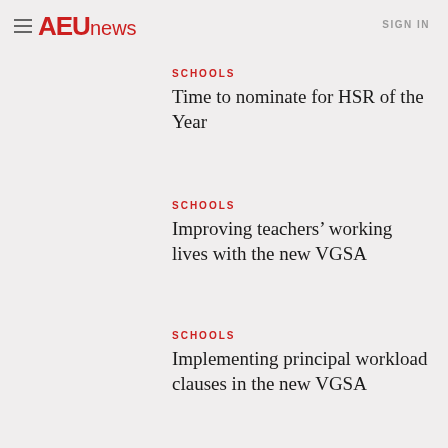AEUnews  SIGN IN
SCHOOLS
Time to nominate for HSR of the Year
SCHOOLS
Improving teachers' working lives with the new VGSA
SCHOOLS
Implementing principal workload clauses in the new VGSA